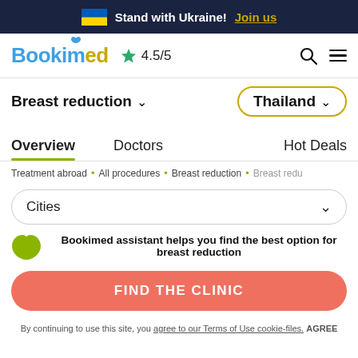Stand with Ukraine! Join us
[Figure (logo): Bookimed logo with star rating 4.5/5, search and menu icons]
Breast reduction ∨   Thailand ∨
Overview   Doctors   Hot Deals
Treatment abroad • All procedures • Breast reduction • Breast redu…
Cities ∨
Bookimed assistant helps you find the best option for breast reduction
FIND THE CLINIC
By continuing to use this site, you agree to our Terms of Use cookie-files. AGREE